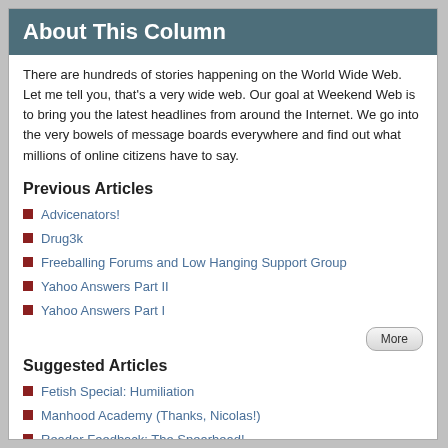About This Column
There are hundreds of stories happening on the World Wide Web. Let me tell you, that's a very wide web. Our goal at Weekend Web is to bring you the latest headlines from around the Internet. We go into the very bowels of message boards everywhere and find out what millions of online citizens have to say.
Previous Articles
Advicenators!
Drug3k
Freeballing Forums and Low Hanging Support Group
Yahoo Answers Part II
Yahoo Answers Part I
Suggested Articles
Fetish Special: Humiliation
Manhood Academy (Thanks, Nicolas!)
Reader Feedback: The Spearhead!
Ultimate Surrender (Thanks, Jet!) (NWS!)
Rock Stars!